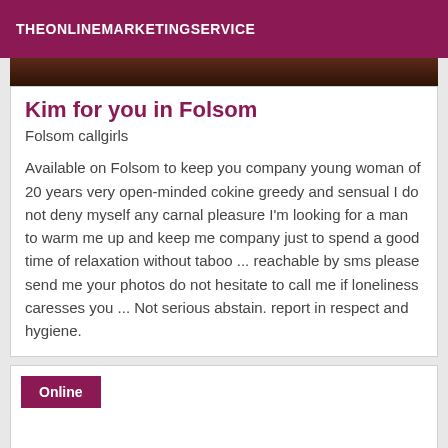THEONLINEMARKETINGSERVICE
[Figure (photo): Dark photo strip showing partial image at top of listing card]
Kim for you in Folsom
Folsom callgirls
Available on Folsom to keep you company young woman of 20 years very open-minded cokine greedy and sensual I do not deny myself any carnal pleasure I'm looking for a man to warm me up and keep me company just to spend a good time of relaxation without taboo ... reachable by sms please send me your photos do not hesitate to call me if loneliness caresses you ... Not serious abstain. report in respect and hygiene.
Online